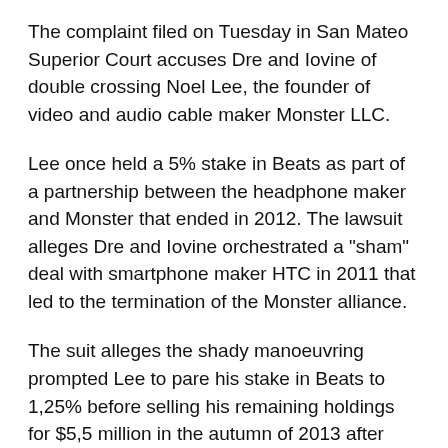The complaint filed on Tuesday in San Mateo Superior Court accuses Dre and Iovine of double crossing Noel Lee, the founder of video and audio cable maker Monster LLC.
Lee once held a 5% stake in Beats as part of a partnership between the headphone maker and Monster that ended in 2012. The lawsuit alleges Dre and Iovine orchestrated a "sham" deal with smartphone maker HTC in 2011 that led to the termination of the Monster alliance.
The suit alleges the shady manoeuvring prompted Lee to pare his stake in Beats to 1,25% before selling his remaining holdings for $5,5 million in the autumn of 2013 after being assured by Beats executives that there were no plans to sell the company for at least several years.
Beats announced its sale to Apple in May, opening the door